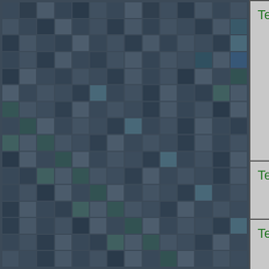| Manufacturer | Model | Description |
| --- | --- | --- |
| Tetronix | 7612D | Wavefo... Megasa... Indeper... for any ... up to 4 ... Accura... |
| Tetronix | 7704 | Oscillos... |
| Tetronix | 7704A | 4 Comp... |
| Tetronix | 7904 | 500MHz... Mainfra... |
| Tetronix | 7912AD | 500MHz... Equival... Samplin... Monitor... |
| Tetronix | 7A7 | TDInc.... |